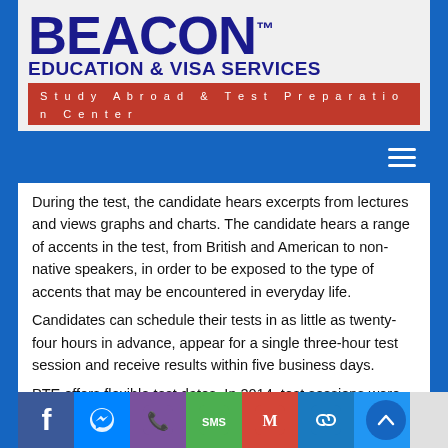[Figure (logo): Beacon Education & Visa Services logo with 'BEACON' in large dark blue bold text with TM mark, 'EDUCATION & VISA SERVICES' below, and red bar reading 'Study Abroad & Test Preparation Center']
[Figure (screenshot): Blue navigation bar with hamburger menu icon on the right]
During the test, the candidate hears excerpts from lectures and views graphs and charts. The candidate hears a range of accents in the test, from British and American to non-native speakers, in order to be exposed to the type of accents that may be encountered in everyday life.
Candidates can schedule their tests in as little as twenty-four hours in advance, appear for a single three-hour test session and receive results within five business days.
PTE offers flexible test dates. In 2014, test sessions were available 300 days of the year. Candidates can choose from over [locations] and [options] d[...] E is approved by the UK and Australian Governments.
[Figure (screenshot): Social media sharing toolbar at bottom with Facebook, Messenger, Viber, SMS, Gmail, Copy Link, Share+ icons and a scroll-to-top button]